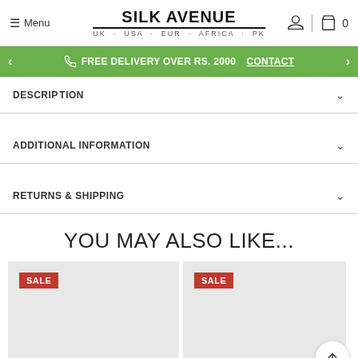Menu | SILK AVENUE UK · USA · EUR · AFRICA · PK | Account | Cart 0
FREE DELIVERY OVER RS. 2000   CONTACT
DESCRIPTION
ADDITIONAL INFORMATION
RETURNS & SHIPPING
YOU MAY ALSO LIKE...
[Figure (photo): Product card with SALE badge, light grey background]
[Figure (photo): Product card with SALE badge, light grey background]